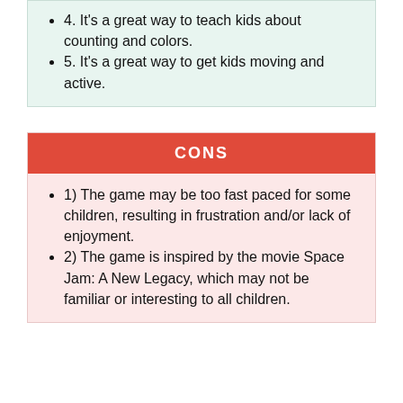4. It's a great way to teach kids about counting and colors.
5. It's a great way to get kids moving and active.
CONS
1) The game may be too fast paced for some children, resulting in frustration and/or lack of enjoyment.
2) The game is inspired by the movie Space Jam: A New Legacy, which may not be familiar or interesting to all children.